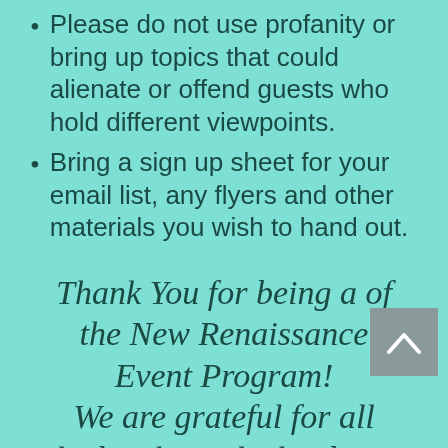Please do not use profanity or bring up topics that could alienate or offend guests who hold different viewpoints.
Bring a sign up sheet for your email list, any flyers and other materials you wish to hand out.
Thank You for being a of the New Renaissance Event Program! We are grateful for all the bright souls that bring